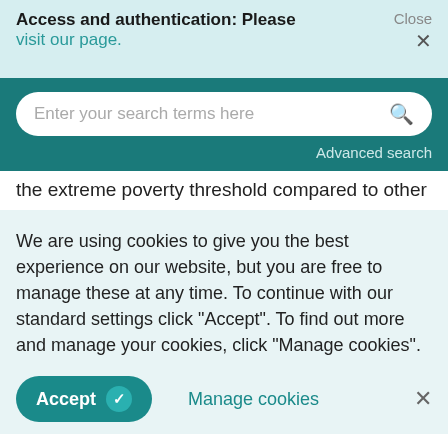Access and authentication: Please visit our page.
[Figure (screenshot): Search bar with placeholder text 'Enter your search terms here' and a magnifying glass icon on a teal background, with 'Advanced search' link below]
the extreme poverty threshold compared to other
We are using cookies to give you the best experience on our website, but you are free to manage these at any time. To continue with our standard settings click "Accept". To find out more and manage your cookies, click "Manage cookies".
Accept   Manage cookies   ×
people by 2050. Growth in this industry is two to four times more effective in increasing incomes